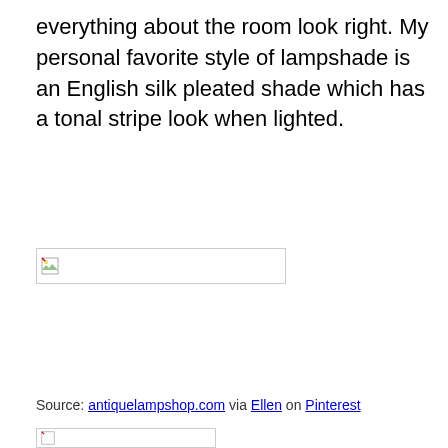everything about the room look right. My personal favorite style of lampshade is an English silk pleated shade which has a tonal stripe look when lighted.
[Figure (photo): Broken/missing image placeholder showing a small broken image icon inside a rectangular border]
Source: antiquelampshop.com via Ellen on Pinterest
[Figure (photo): Partial broken/missing image placeholder at the bottom of the page]